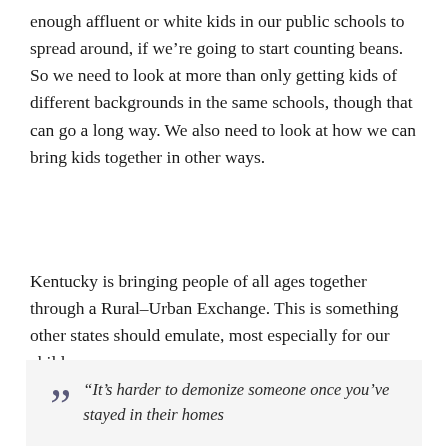enough affluent or white kids in our public schools to spread around, if we're going to start counting beans. So we need to look at more than only getting kids of different backgrounds in the same schools, though that can go a long way. We also need to look at how we can bring kids together in other ways.
Kentucky is bringing people of all ages together through a Rural–Urban Exchange. This is something other states should emulate, most especially for our children.
“It’s harder to demonize someone once you’ve stayed in their homes